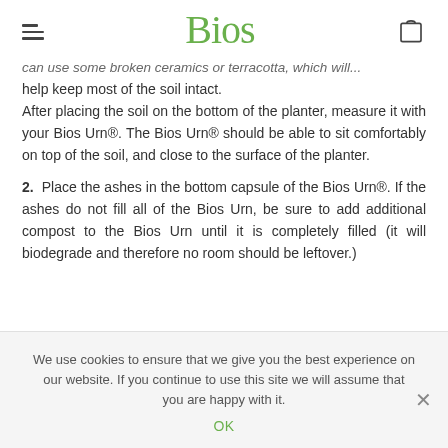Bios
can use some broken ceramics or terracotta, which will help keep most of the soil intact.
After placing the soil on the bottom of the planter, measure it with your Bios Urn®. The Bios Urn® should be able to sit comfortably on top of the soil, and close to the surface of the planter.
2. Place the ashes in the bottom capsule of the Bios Urn®. If the ashes do not fill all of the Bios Urn, be sure to add additional compost to the Bios Urn until it is completely filled (it will biodegrade and therefore no room should be leftover.)
We use cookies to ensure that we give you the best experience on our website. If you continue to use this site we will assume that you are happy with it.
OK